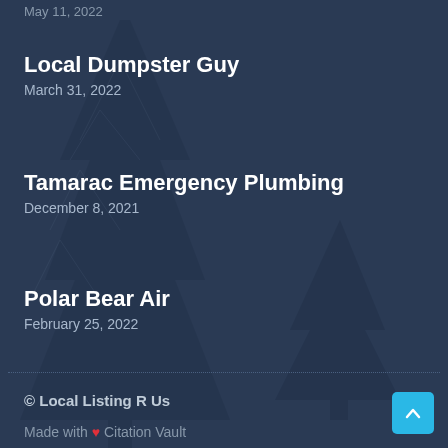May 11, 2022
Local Dumpster Guy
March 31, 2022
Tamarac Emergency Plumbing
December 8, 2021
Polar Bear Air
February 25, 2022
© Local Listing R Us
Made with ❤ Citation Vault